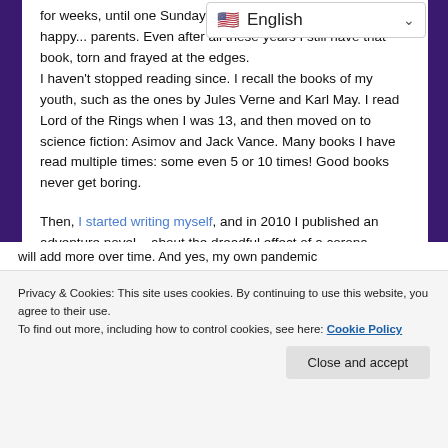for weeks, until one Sunday mo... read it in one go. I was so happy... parents. Even after all these years I still have that book, torn and frayed at the edges.
I haven't stopped reading since. I recall the books of my youth, such as the ones by Jules Verne and Karl May. I read Lord of the Rings when I was 13, and then moved on to science fiction: Asimov and Jack Vance. Many books I have read multiple times: some even 5 or 10 times! Good books never get boring.
Then, I started writing myself, and in 2010 I published an adventure novel... about the dreadful effect of a corona pandemic. As an author, I have less time for reading, but I still do manage to read some exiting
Privacy & Cookies: This site uses cookies. By continuing to use this website, you agree to their use.
To find out more, including how to control cookies, see here: Cookie Policy
will add more over time. And yes, my own pandemic